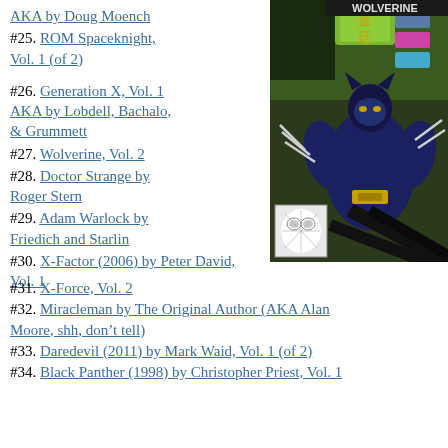AKA by Doug Moench
#25. ROM Spaceknight, Vol. 1 (of 2)
#26. Generation X, Vol. 1 AKA by Lobdell, Bachalo, & Grummett
[Figure (photo): Comic book cover of Wolverine Vol. 2 featuring Wolverine in a dark blue/black costume with claws extended, set against a Hong Kong street background with Chinese signage. A small inset image of Spider-Man's face appears in the lower-left corner of the cover.]
#27. Wolverine, Vol. 2
#28. Doctor Strange by Roger Stern
#29. Adam Warlock by Friedich and Starlin
#30. X-Factor (2006) by Peter David, Vol. 1
#31. X-Force, Vol. 2
#32. Miracleman by The Original Author (AKA Alan Moore, shh, don’t tell)
#33. Daredevil (2011) by Mark Waid, Vol. 1 (of 2)
#34. Black Panther (1998) by Christopher Priest, Vol. 1